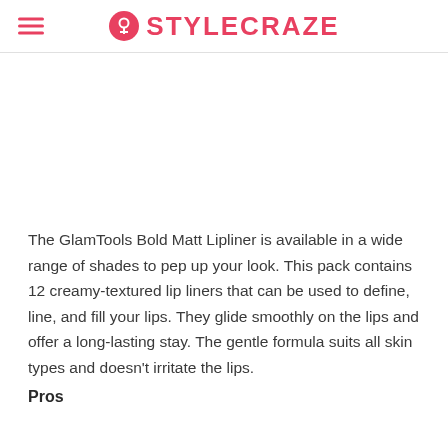STYLECRAZE
[Figure (photo): White/empty image area placeholder above article text]
The GlamTools Bold Matt Lipliner is available in a wide range of shades to pep up your look. This pack contains 12 creamy-textured lip liners that can be used to define, line, and fill your lips. They glide smoothly on the lips and offer a long-lasting stay. The gentle formula suits all skin types and doesn't irritate the lips.
Pros